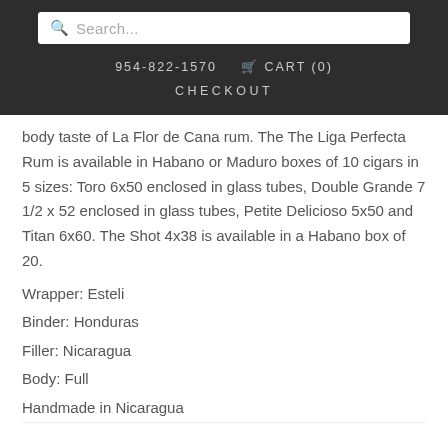Search...
954-822-1570   CART (0)
CHECKOUT
body taste of La Flor de Cana rum. The The Liga Perfecta Rum is available in Habano or Maduro boxes of 10 cigars in 5 sizes: Toro 6x50 enclosed in glass tubes, Double Grande 7 1/2 x 52 enclosed in glass tubes, Petite Delicioso 5x50 and Titan 6x60. The Shot 4x38 is available in a Habano box of 20.
Wrapper: Esteli
Binder: Honduras
Filler: Nicaragua
Body: Full
Handmade in Nicaragua